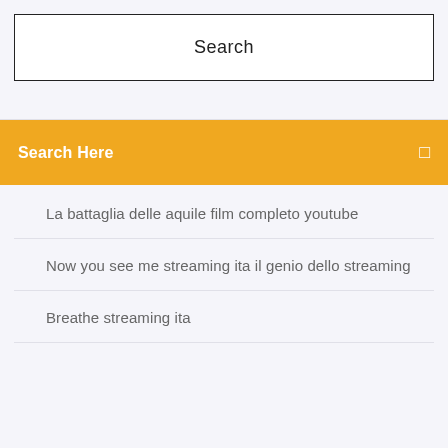Search
Search Here
La battaglia delle aquile film completo youtube
Now you see me streaming ita il genio dello streaming
Breathe streaming ita